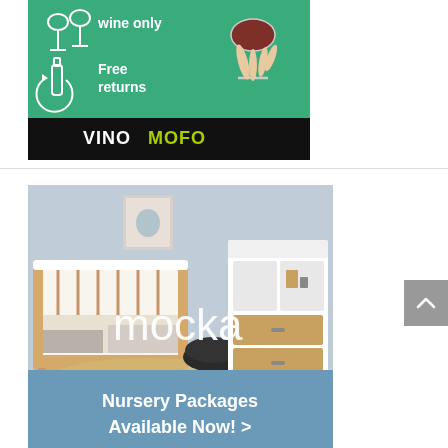[Figure (illustration): VinoMofo advertisement banner. Green upper section with white icons of wine glasses and bottle, text 'wine only' and 'Free returns', with a hand holding a wine glass. Black lower bar with text 'VINOMOFO' in white and green lettering.]
[Figure (illustration): Mocka advertisement banner. Photo of nursery room with wooden crib and white changing table/dresser. White 'mocka' logo text overlay. Blue lower section with bold white text 'Nursery Packages Available Now! >']